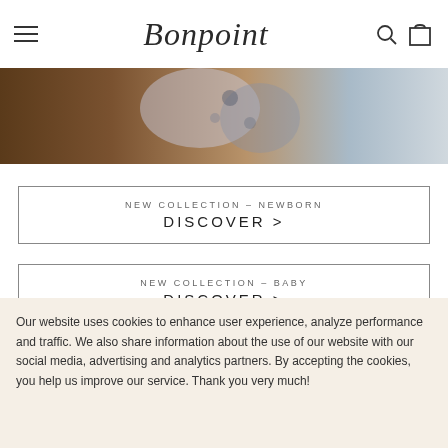Bonpoint
[Figure (photo): Hero image showing a baby or child in patterned clothing, warm brown tones with blurred background]
NEW COLLECTION – NEWBORN
DISCOVER >
NEW COLLECTION – BABY
DISCOVER >
Our website uses cookies to enhance user experience, analyze performance and traffic. We also share information about the use of our website with our social media, advertising and analytics partners. By accepting the cookies, you help us improve our service. Thank you very much!